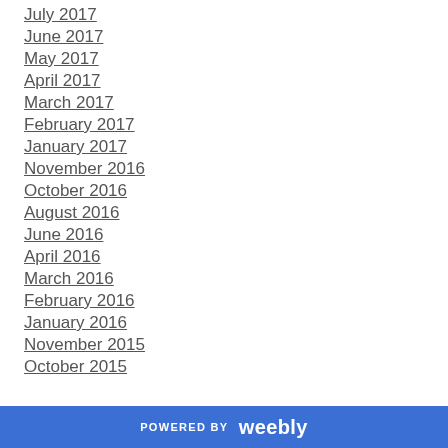July 2017
June 2017
May 2017
April 2017
March 2017
February 2017
January 2017
November 2016
October 2016
August 2016
June 2016
April 2016
March 2016
February 2016
January 2016
November 2015
October 2015
POWERED BY weebly